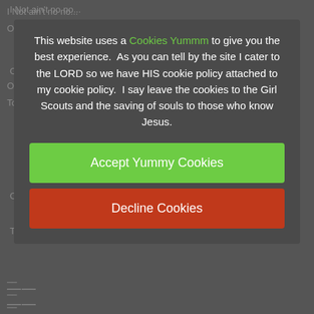I Not ain't no no...
Ooh love...
To kiss yo...
I traced...
Cook...
You/...
Sweeter than sugar
Ooh love
I won't let you do...
Da do
This website uses a Cookies Yummm to give you the best experience.  As you can tell by the site I cater to the LORD so we have HIS cookie policy attached to my cookie policy.  I say leave the cookies to the Girl Scouts and the saving of souls to those who know Jesus.
Accept Yummy Cookies
Decline Cookies